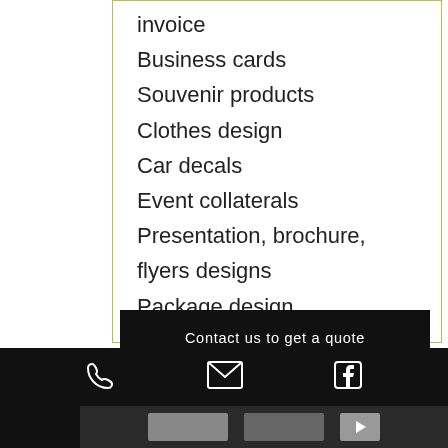invoice
Business cards
Souvenir products
Clothes design
Car decals
Event collaterals
Presentation, brochure, flyers designs
Package design
Contact us to get a quote
CHECK OUT OUR
PORTFOLIO
[Figure (screenshot): Footer bar with phone, email, and Facebook icons on dark background, with a portfolio image strip below]